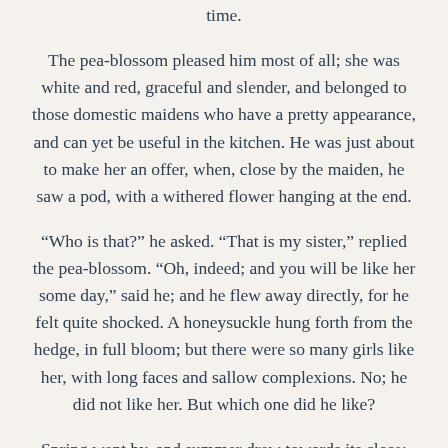time.
The pea-blossom pleased him most of all; she was white and red, graceful and slender, and belonged to those domestic maidens who have a pretty appearance, and can yet be useful in the kitchen. He was just about to make her an offer, when, close by the maiden, he saw a pod, with a withered flower hanging at the end.
“Who is that?” he asked. “That is my sister,” replied the pea-blossom. “Oh, indeed; and you will be like her some day,” said he; and he flew away directly, for he felt quite shocked. A honeysuckle hung forth from the hedge, in full bloom; but there were so many girls like her, with long faces and sallow complexions. No; he did not like her. But which one did he like?
Spring went by, and summer drew towards its close; autumn came; but he had not decided. The flowers